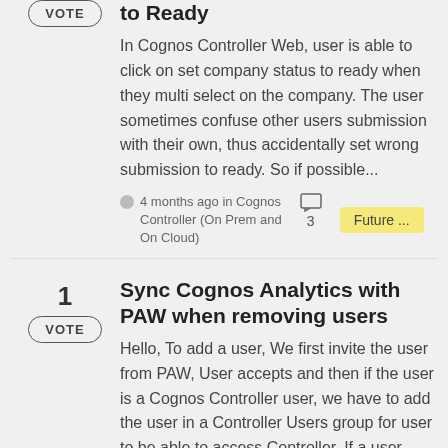to Ready
In Cognos Controller Web, user is able to click on set company status to ready when they multi select on the company. The user sometimes confuse other users submission with their own, thus accidentally set wrong submission to ready. So if possible...
4 months ago in Cognos Controller (On Prem and On Cloud)
3
Future ...
Sync Cognos Analytics with PAW when removing users
Hello, To add a user, We first invite the user from PAW, User accepts and then if the user is a Cognos Controller user, we have to add the user in a Controller Users group for user to be able to access Controller. If a user leaves and we delete